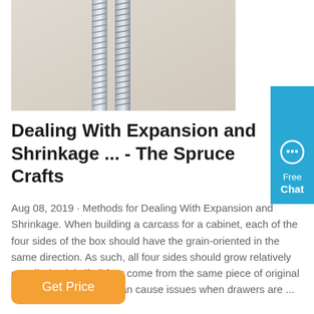[Figure (photo): Close-up photo of two metallic silver screws against a light beige/white background]
Dealing With Expansion and Shrinkage ... - The Spruce Crafts
Aug 08, 2019 · Methods for Dealing With Expansion and Shrinkage. When building a carcass for a cabinet, each of the four sides of the box should have the grain-oriented in the same direction. As such, all four sides should grow relatively equally (mainly if all four come from the same piece of original stock). This, however, can cause issues when drawers are ...
[Figure (infographic): Blue chat widget button on right side with speech bubble icon and text 'Free Chat']